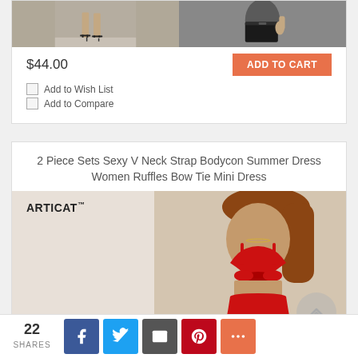[Figure (photo): Two photos side by side: left shows a person's legs wearing black strappy heels on gray pavement, right shows a person holding a black leather clutch bag wearing a black outfit]
$44.00
ADD TO CART
Add to Wish List
Add to Compare
2 Piece Sets Sexy V Neck Strap Bodycon Summer Dress Women Ruffles Bow Tie Mini Dress
[Figure (photo): A woman wearing a red two-piece bodycon mini dress with V-neck spaghetti straps and a bow tie front detail, with the ARTICAT brand logo in the top-left corner]
22 SHARES [Facebook] [Twitter] [Email] [Pinterest] [More]